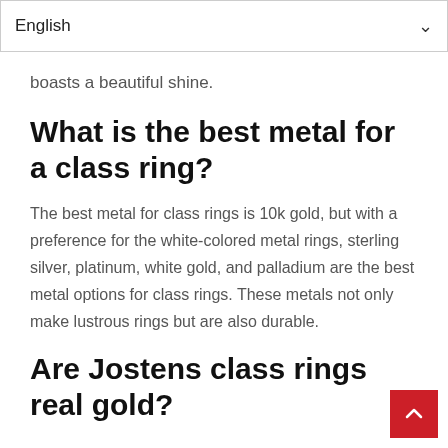English
boasts a beautiful shine.
What is the best metal for a class ring?
The best metal for class rings is 10k gold, but with a preference for the white-colored metal rings, sterling silver, platinum, white gold, and palladium are the best metal options for class rings. These metals not only make lustrous rings but are also durable.
Are Jostens class rings real gold?